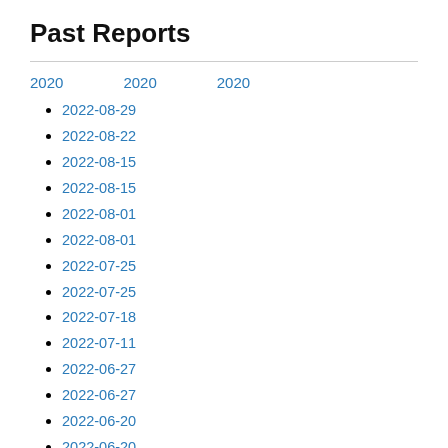Past Reports
2020
2020
2020
2022-08-29
2022-08-22
2022-08-15
2022-08-15
2022-08-01
2022-08-01
2022-07-25
2022-07-25
2022-07-18
2022-07-11
2022-06-27
2022-06-27
2022-06-20
2022-06-20
2022-06-13
2022-06-13
2022-06-06
2022-06-06